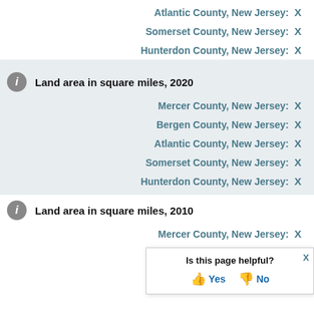Atlantic County, New Jersey: X
Somerset County, New Jersey: X
Hunterdon County, New Jersey: X
Land area in square miles, 2020
Mercer County, New Jersey: X
Bergen County, New Jersey: X
Atlantic County, New Jersey: X
Somerset County, New Jersey: X
Hunterdon County, New Jersey: X
Land area in square miles, 2010
Mercer County, New Jersey: X
Bergen County, New Jersey: X
Atlantic County, New Jersey: X
Somerset County, New Jersey: X